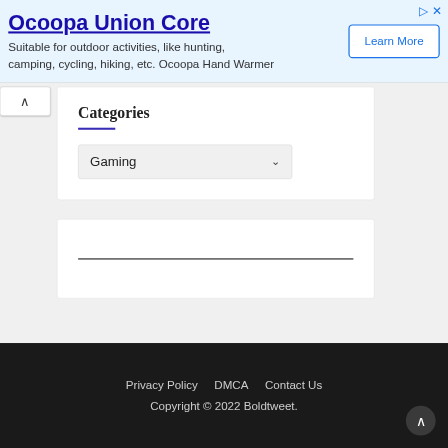[Figure (screenshot): Advertisement banner for Ocoopa Union Core with Learn More button]
Ocoopa Union Core
Suitable for outdoor activities, like hunting, camping, cycling, hiking, etc. Ocoopa Hand Warmer
Categories
Gaming
Privacy Policy   DMCA   Contact Us
Copyright © 2022 Boldtweet.